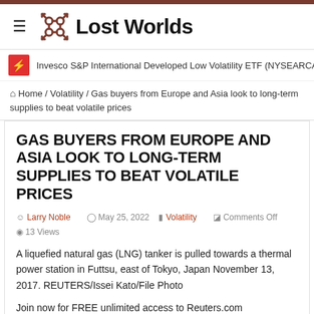Lost Worlds
Invesco S&P International Developed Low Volatility ETF (NYSEARCA:IDLV)
Home / Volatility / Gas buyers from Europe and Asia look to long-term supplies to beat volatile prices
GAS BUYERS FROM EUROPE AND ASIA LOOK TO LONG-TERM SUPPLIES TO BEAT VOLATILE PRICES
Larry Noble  May 25, 2022  Volatility  Comments Off  13 Views
A liquefied natural gas (LNG) tanker is pulled towards a thermal power station in Futtsu, east of Tokyo, Japan November 13, 2017. REUTERS/Issei Kato/File Photo
Join now for FREE unlimited access to Reuters.com